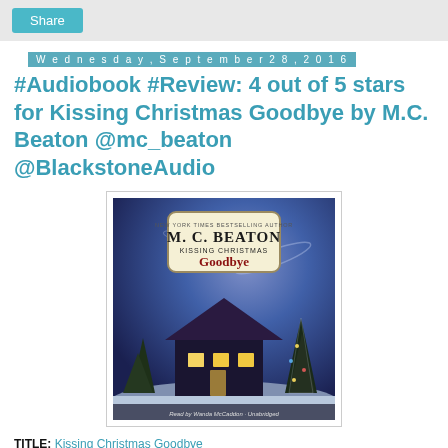Share
Wednesday, September 28, 2016
#Audiobook #Review: 4 out of 5 stars for Kissing Christmas Goodbye by M.C. Beaton @mc_beaton @BlackstoneAudio
[Figure (illustration): Book cover for 'Kissing Christmas Goodbye' by M.C. Beaton, showing a snow-covered house with lights in a winter night scene, with Christmas trees. Text reads: M.C. BEATON Kissing Christmas GOODBYE. Read by Wanda McCaddon · Unabridged]
TITLE: Kissing Christmas Goodbye
SERIES: Agatha Raisin, Book #18